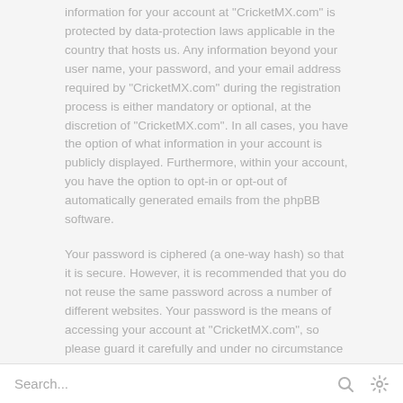information for your account at "CricketMX.com" is protected by data-protection laws applicable in the country that hosts us. Any information beyond your user name, your password, and your email address required by "CricketMX.com" during the registration process is either mandatory or optional, at the discretion of "CricketMX.com". In all cases, you have the option of what information in your account is publicly displayed. Furthermore, within your account, you have the option to opt-in or opt-out of automatically generated emails from the phpBB software.
Your password is ciphered (a one-way hash) so that it is secure. However, it is recommended that you do not reuse the same password across a number of different websites. Your password is the means of accessing your account at "CricketMX.com", so please guard it carefully and under no circumstance will anyone affiliated with "CricketMX.com", phpBB or another 3rd party, legitimately ask you for your password. Should you forget your password for your account, you can use the "I forgot my password" feature provided by the phpBB software. This process will ask you to submit your user name and your email, then the phpBB software will generate a new password to reclaim your account.